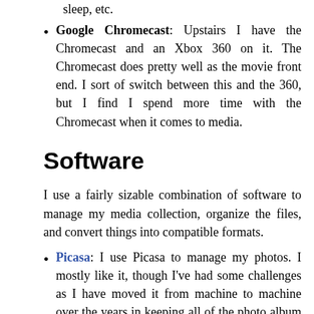sleep, etc.
Google Chromecast: Upstairs I have the Chromecast and an Xbox 360 on it. The Chromecast does pretty well as the movie front end. I sort of switch between this and the 360, but I find I spend more time with the Chromecast when it comes to media.
Software
I use a fairly sizable combination of software to manage my media collection, organize the files, and convert things into compatible formats.
Picasa: I use Picasa to manage my photos. I mostly like it, though I've had some challenges as I have moved it from machine to machine over the years in keeping all of the photo album metadata and the ties to the albums synchronized online. Even with these challenges, it is the one tool I've seen with the best balance of flexibility and